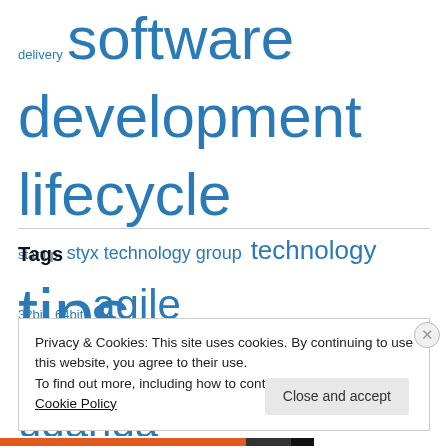delivery software development lifecycle startup styx technology group technology tips and tricks web development Zend Framework
Tags
32bit 64bit agile development airtel uganda
Privacy & Cookies: This site uses cookies. By continuing to use this website, you agree to their use.
To find out more, including how to control cookies, see here: Cookie Policy
Close and accept